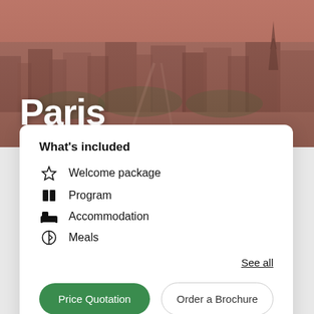[Figure (photo): Aerial view of Paris cityscape with the Eiffel Tower visible in the background, overlaid with a warm reddish-brown tint]
Paris
What's included
Welcome package
Program
Accommodation
Meals
See all
Price Quotation
Order a Brochure